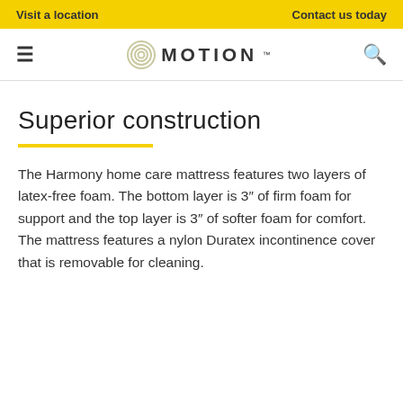Visit a location    Contact us today
[Figure (logo): Motion logo with concentric circle icon and MOTION wordmark]
Superior construction
The Harmony home care mattress features two layers of latex-free foam. The bottom layer is 3″ of firm foam for support and the top layer is 3″ of softer foam for comfort. The mattress features a nylon Duratex incontinence cover that is removable for cleaning.